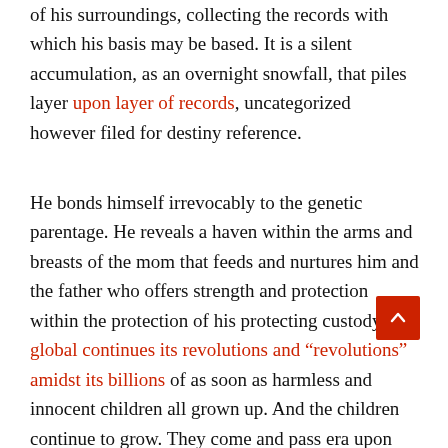of his surroundings, collecting the records with which his basis may be based. It is a silent accumulation, as an overnight snowfall, that piles layer upon layer of records, uncategorized however filed for destiny reference.

He bonds himself irrevocably to the genetic parentage. He reveals a haven within the arms and breasts of the mom that feeds and nurtures him and the father who offers strength and protection within the protection of his protecting custody. The global continues its revolutions and "revolutions" amidst its billions of as soon as harmless and innocent children all grown up. And the children continue to grow. They come and pass era upon generation every with its own set of standards, expectations, philosophies, attitudes, and views in a life and death conflict that ends necessarily within the grave